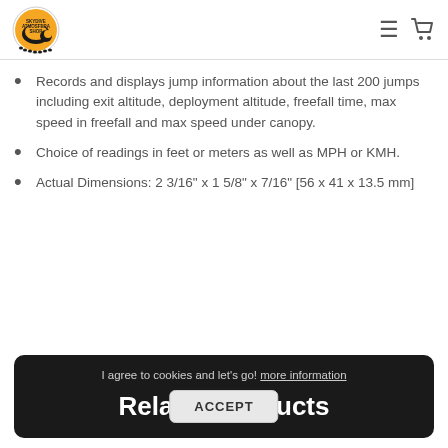Skydive Atmosfera Shop
Records and displays jump information about the last 200 jumps including exit altitude, deployment altitude, freefall time, max speed in freefall and max speed under canopy.
Choice of readings in feet or meters as well as MPH or KMH.
Actual Dimensions: 2 3/16" x 1 5/8" x 7/16" [56 x 41 x 13.5 mm]
I agree to cookies and let's go! more information
Related Products